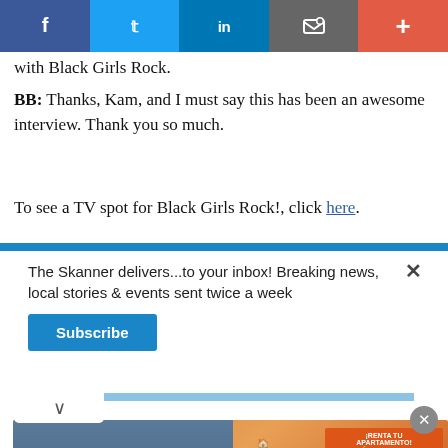[Figure (other): Social media sharing bar with Facebook, Twitter, LinkedIn, email/bookmark, and plus buttons]
with Black Girls Rock.
BB: Thanks, Kam, and I must say this has been an awesome interview. Thank you so much.
To see a TV spot for Black Girls Rock!, click here.
The Skanner delivers...to your inbox! Breaking news, local stories & events sent twice a week
Subscribe
[Figure (photo): Sedona Apartments advertisement: apartment building photo, address 14402 Pavilion Point, Houston, TX 77083, www.apartments.com, 281-568-4596, 1 Y 2 RECAMARAS, RENTA TU APARTAMENTO Y MUDATE HOY! VEN Y VISITANOS]